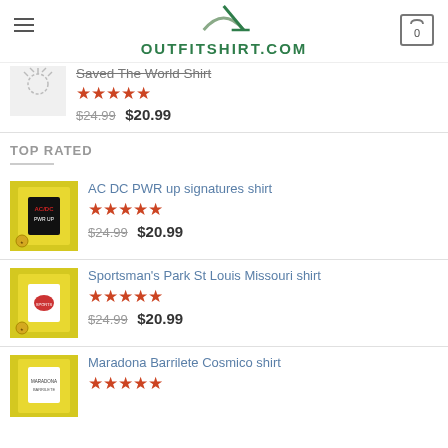OUTFITSHIRT.COM
Saved The World Shirt
★★★★★
$24.99  $20.99
TOP RATED
AC DC PWR up signatures shirt
★★★★★
$24.99  $20.99
Sportsman's Park St Louis Missouri shirt
★★★★★
$24.99  $20.99
Maradona Barrilete Cosmico shirt
★★★★★